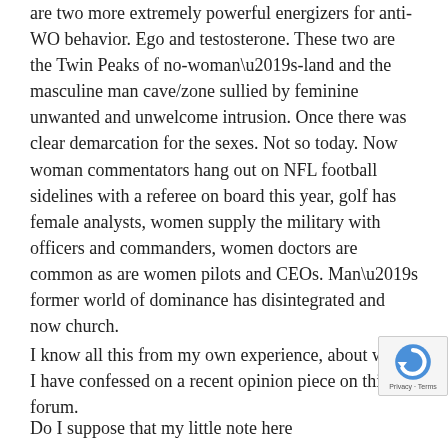are two more extremely powerful energizers for anti-WO behavior. Ego and testosterone. These two are the Twin Peaks of no-woman’s-land and the masculine man cave/zone sullied by feminine unwanted and unwelcome intrusion. Once there was clear demarcation for the sexes. Not so today. Now woman commentators hang out on NFL football sidelines with a referee on board this year, golf has female analysts, women supply the military with officers and commanders, women doctors are common as are women pilots and CEOs. Man’s former world of dominance has disintegrated and now church.
I know all this from my own experience, about which I have confessed on a recent opinion piece on this forum.
Do I suppose that my little note here
[Figure (other): Google reCAPTCHA badge in bottom-right corner showing the reCAPTCHA logo (circular arrow icon in blue) and 'Privacy - Terms' text]